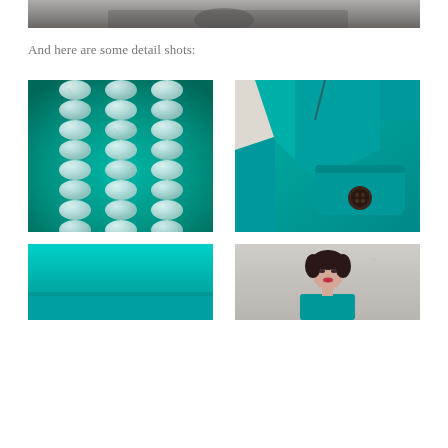[Figure (photo): Top portion of a photo, showing dark ground/pavement surface, cropped at top of page]
And here are some detail shots:
[Figure (photo): Close-up detail of turquoise/light blue oval beads arranged in three columns on a teal background]
[Figure (photo): Close-up detail of a teal/turquoise coat collar and pocket flap with a dark brown button]
[Figure (photo): Close-up detail of the hem/edge of a bright turquoise fabric garment]
[Figure (photo): Portrait of a woman with dark hair wearing a teal/turquoise coat, standing against a light concrete wall]